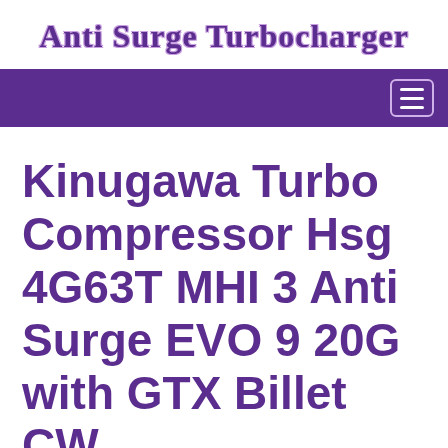Anti Surge Turbocharger
Kinugawa Turbo Compressor Hsg 4G63T MHI 3 Anti Surge EVO 9 20G with GTX Billet CW